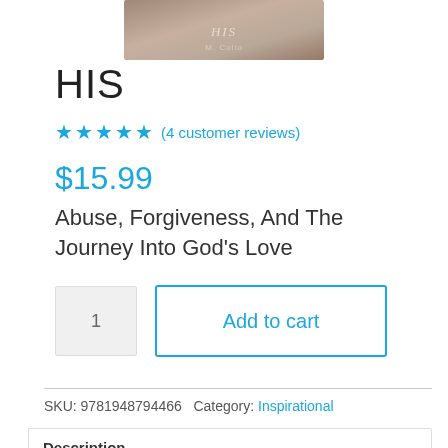[Figure (photo): Partial view of a book cover cropped at the top of the page]
HIS
★★★★★ (4 customer reviews)
$15.99
Abuse, Forgiveness, And The Journey Into God's Love
1  Add to cart
SKU: 9781948794466  Category: Inspirational
Description